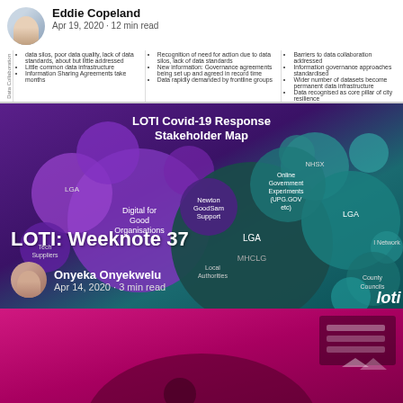Eddie Copeland
Apr 19, 2020 · 12 min read
[Figure (infographic): LOTI Covid-19 Response Stakeholder Map showing a bubble/circle diagram with various stakeholder groups in purple and teal colors including Digital for Good Organisations, Tech Suppliers, LGA, Newton GoodSam Support, Online Government Experiments, MHCLG, Local Authorities, I Network and other nodes.]
LOTI: Weeknote 37
Onyeka Onyekwelu
Apr 14, 2020 · 3 min read
[Figure (photo): Bottom section showing a magenta/pink gradient background with a dark silhouette figure and some UI elements on the right side]